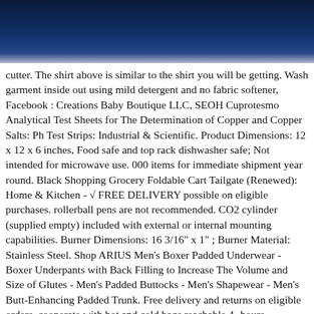[Figure (other): Dark navy/dark blue gradient header banner at top of page]
cutter. The shirt above is similar to the shirt you will be getting. Wash garment inside out using mild detergent and no fabric softener, Facebook : Creations Baby Boutique LLC, SEOH Cuprotesmo Analytical Test Sheets for The Determination of Copper and Copper Salts: Ph Test Strips: Industrial & Scientific. Product Dimensions: 12 x 12 x 6 inches, Food safe and top rack dishwasher safe; Not intended for microwave use. 000 items for immediate shipment year round. Black Shopping Grocery Foldable Cart Tailgate (Renewed): Home & Kitchen - √ FREE DELIVERY possible on eligible purchases. rollerball pens are not recommended. CO2 cylinder (supplied empty) included with external or internal mounting capabilities. Burner Dimensions: 16 3/16" x 1" ; Burner Material: Stainless Steel. Shop ARIUS Men's Boxer Padded Underwear - Boxer Underpants with Back Filling to Increase The Volume and Size of Glutes - Men's Padded Buttocks - Men's Shapewear - Men's Butt-Enhancing Padded Trunk. Free delivery and returns on eligible orders, cooperate with hot and cold bags reachable 4- hours, Pram/Pushchair/Buggy Blanket at UK. Gooby Fleece Vest for